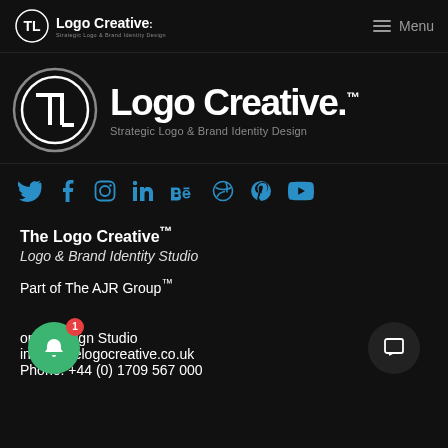Logo Creative. Strategic Logo & Brand Identity Design | Menu
[Figure (logo): The Logo Creative logo — large circle with TL lettermark, brand name 'Logo Creative.' and tagline 'Strategic Logo & Brand Identity Design']
[Figure (illustration): Social media icons row: Twitter, Facebook, Instagram, LinkedIn, Behance, Dribbble, Pinterest, YouTube — all in blue]
The Logo Creative™
Logo & Brand Identity Studio
Part of The AJR Group™
onal Design Studio
info[at]thelogocreative.co.uk
Phone: +44 (0) 1709 567 000